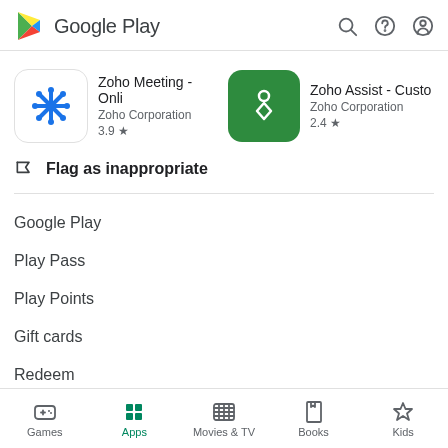Google Play
[Figure (screenshot): App card for Zoho Meeting - Onli by Zoho Corporation, rating 3.9 stars]
[Figure (screenshot): App card for Zoho Assist - Custo by Zoho Corporation, rating 2.4 stars]
Flag as inappropriate
Google Play
Play Pass
Play Points
Gift cards
Redeem
Games  Apps  Movies & TV  Books  Kids